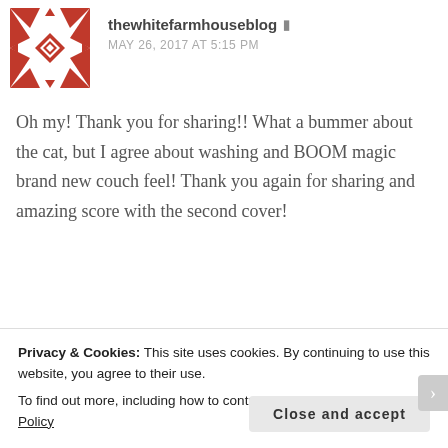thewhitefarmhouseblog  MAY 26, 2017 AT 5:15 PM
Oh my! Thank you for sharing!! What a bummer about the cat, but I agree about washing and BOOM magic brand new couch feel! Thank you again for sharing and amazing score with the second cover!
★ Like
Reply
Privacy & Cookies: This site uses cookies. By continuing to use this website, you agree to their use.
To find out more, including how to control cookies, see here: Cookie Policy
Close and accept